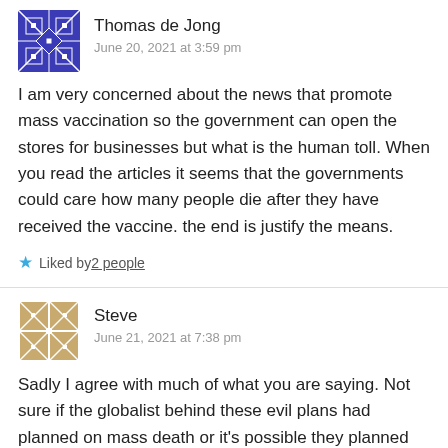Thomas de Jong
June 20, 2021 at 3:59 pm
I am very concerned about the news that promote mass vaccination so the government can open the stores for businesses but what is the human toll. When you read the articles it seems that the governments could care how many people die after they have received the vaccine. the end is justify the means.
Liked by 2 people
Steve
June 21, 2021 at 7:38 pm
Sadly I agree with much of what you are saying. Not sure if the globalist behind these evil plans had planned on mass death or it's possible they planned more on mass sterilization from the shots. Either way what's coming is not good at all and it's all